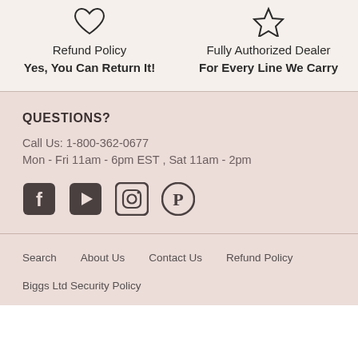Refund Policy
Yes, You Can Return It!
Fully Authorized Dealer
For Every Line We Carry
QUESTIONS?
Call Us:  1-800-362-0677
Mon - Fri 11am - 6pm EST , Sat 11am - 2pm
[Figure (infographic): Social media icons: Facebook, YouTube, Instagram, Pinterest]
Search
About Us
Contact Us
Refund Policy
Biggs Ltd Security Policy